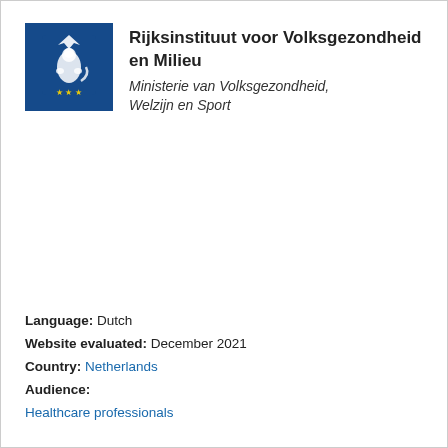[Figure (logo): Blue square logo of Rijksinstituut voor Volksgezondheid en Milieu with Dutch coat of arms (white lion crest) on dark blue background]
Rijksinstituut voor Volksgezondheid en Milieu
Ministerie van Volksgezondheid, Welzijn en Sport
Language: Dutch
Website evaluated: December 2021
Country: Netherlands
Audience:
Healthcare professionals